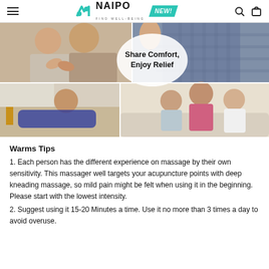NAIPO FIND WELL-BEING — NEW! [navigation bar with hamburger menu, search, cart]
[Figure (photo): Collage of people enjoying massage/comfort: elderly woman holding hands, person stretching, girl lying down, happy family on sofa. Text overlay reads 'Share Comfort, Enjoy Relief']
Warms Tips
1. Each person has the different experience on massage by their own sensitivity. This massager well targets your acupuncture points with deep kneading massage, so mild pain might be felt when using it in the beginning. Please start with the lowest intensity.
2. Suggest using it 15-20 Minutes a time. Use it no more than 3 times a day to avoid overuse.